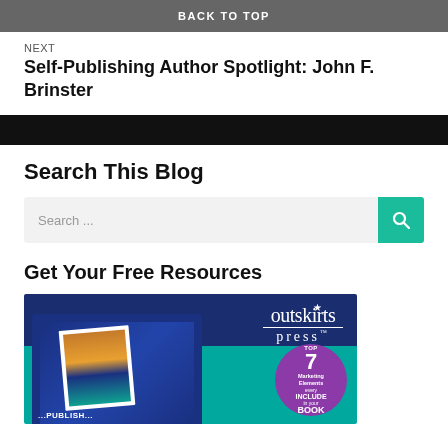BACK TO TOP
NEXT
Self-Publishing Author Spotlight: John F. Brinster
Search This Blog
Search ...
Get Your Free Resources
[Figure (illustration): Outskirts Press advertisement banner showing books/materials with a purple badge reading Top 7 Marketing Elements Include Book]